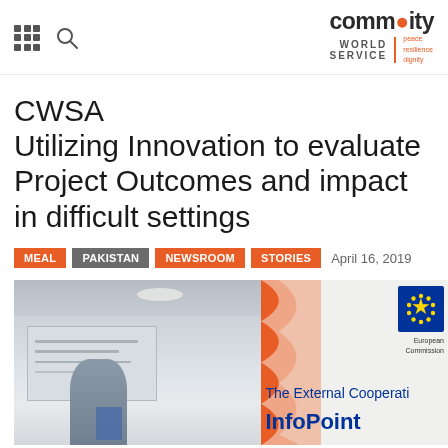Community World Service Asia
CWSA
Utilizing Innovation to evaluate Project Outcomes and impact in difficult settings
MEAL | Pakistan | Newsroom | Stories    April 16, 2019
[Figure (photo): Conference or seminar setting with a presentation screen on the left and an EU External Cooperation InfoPoint banner on the right showing the European Commission logo with blue stars and the text 'The External Cooperation InfoPoint']